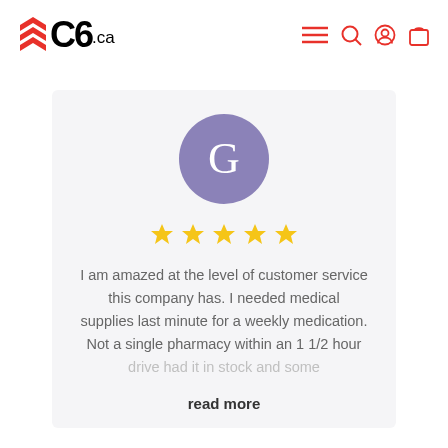C6.ca
[Figure (screenshot): Customer review card with purple avatar showing letter G, five gold stars, and review text about customer service for medical supplies]
I am amazed at the level of customer service this company has. I needed medical supplies last minute for a weekly medication. Not a single pharmacy within an 1 1/2 hour drive had it in stock and some
read more